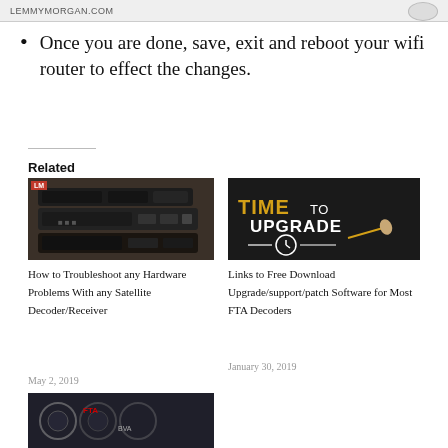LEMMYMORGAN.COM
Once you are done, save, exit and reboot your wifi router to effect the changes.
Related
[Figure (photo): Stack of satellite decoders/receivers, dark colored electronics with LM logo badge in top left corner]
How to Troubleshoot any Hardware Problems With any Satellite Decoder/Receiver
May 2, 2019
[Figure (photo): Dark chalkboard background with text TIME TO UPGRADE and a clock illustration with a hand holding chalk]
Links to Free Download Upgrade/support/patch Software for Most FTA Decoders
January 30, 2019
[Figure (photo): Partially visible image at bottom, appears to show circular media discs or similar items]